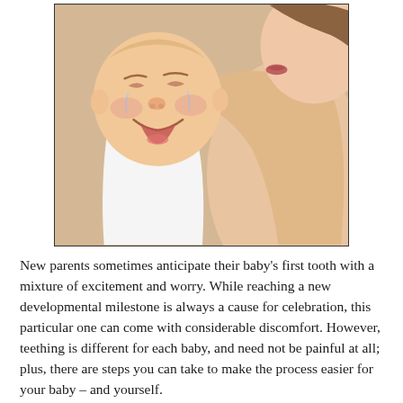[Figure (photo): A crying baby being comforted by a parent who is kissing the baby's head. The baby is wearing a white onesie and appears distressed. The image has a warm beige background.]
New parents sometimes anticipate their baby's first tooth with a mixture of excitement and worry. While reaching a new developmental milestone is always a cause for celebration, this particular one can come with considerable discomfort. However, teething is different for each baby, and need not be painful at all; plus, there are steps you can take to make the process easier for your baby – and yourself.